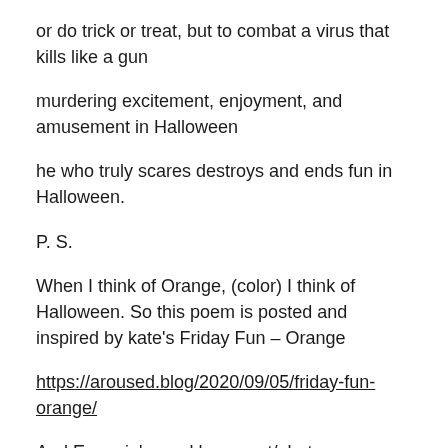or do trick or treat, but to combat a virus that kills like a gun
murdering excitement, enjoyment, and amusement in Halloween
he who truly scares destroys and ends fun in Halloween.
P. S.
When I think of Orange, (color) I think of Halloween. So this poem is posted and inspired by kate's Friday Fun – Orange
https://aroused.blog/2020/09/05/friday-fun-orange/
And Eugenia's weekly prompt/photo: an orange giant pumpkin house – normally used to adorn homes and streets during Halloween